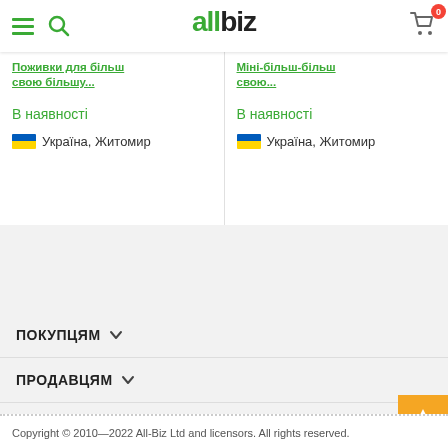allbiz — navigation header with hamburger menu, search, logo, and cart
В наявності
Україна, Житомир
В наявності
Україна, Житомир
ПОКУПЦЯМ
ПРОДАВЦЯМ
КОРИСНА ІНФОРМАЦІЯ
ПРО ПІДПРИЄМСТВО
Copyright © 2010—2022 All-Biz Ltd and licensors. All rights reserved.